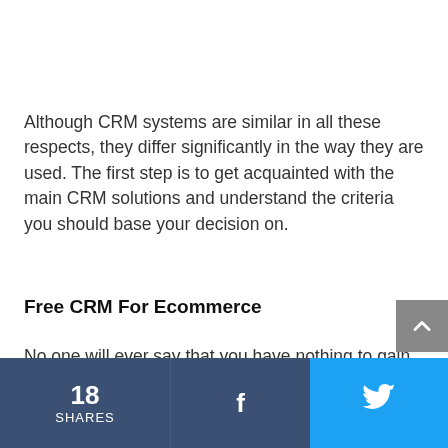Although CRM systems are similar in all these respects, they differ significantly in the way they are used. The first step is to get acquainted with the main CRM solutions and understand the criteria you should base your decision on.
Free CRM For Ecommerce
No one will ever say that you have nothing to gain by using free solutions. Even if their capabilities are limited, free CRM systems can still be used for a
18 SHARES